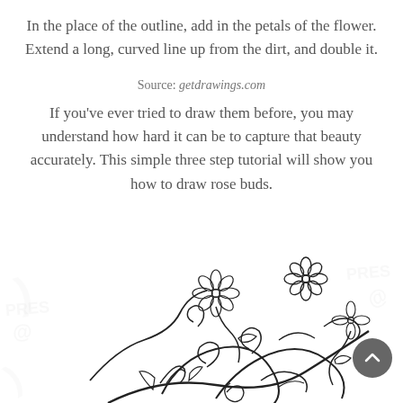In the place of the outline, add in the petals of the flower. Extend a long, curved line up from the dirt, and double it.
Source: getdrawings.com
If you've ever tried to draw them before, you may understand how hard it can be to capture that beauty accurately. This simple three step tutorial will show you how to draw rose buds.
[Figure (illustration): A decorative floral line drawing featuring swirling vines, flowers with petals, rose buds, and scrolling curves in black and white sketch style. Watermark text visible in corners.]